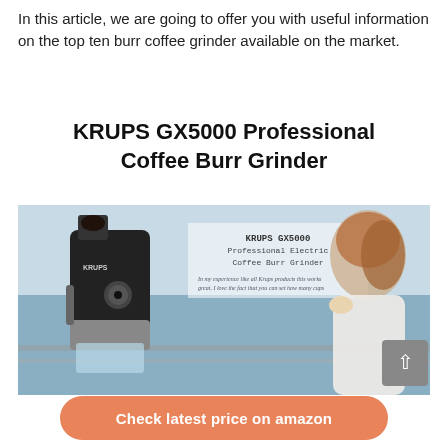In this article, we are going to offer you with useful information on the top ten burr coffee grinder available on the market.
KRUPS GX5000 Professional Coffee Burr Grinder
[Figure (photo): Product image of KRUPS GX5000 Professional Electric Coffee Burr Grinder alongside a woman holding a coffee cup on a balcony, with a handwritten testimonial overlay]
Check latest price on amazon